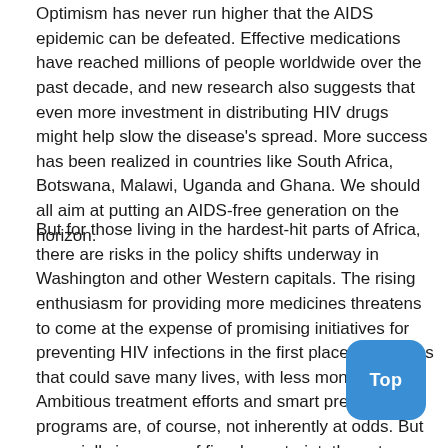Optimism has never run higher that the AIDS epidemic can be defeated. Effective medications have reached millions of people worldwide over the past decade, and new research also suggests that even more investment in distributing HIV drugs might help slow the disease's spread. More success has been realized in countries like South Africa, Botswana, Malawi, Uganda and Ghana. We should all aim at putting an AIDS-free generation on the horizon.
But for those living in the hardest-hit parts of Africa, there are risks in the policy shifts underway in Washington and other Western capitals. The rising enthusiasm for providing more medicines threatens to come at the expense of promising initiatives for preventing HIV infections in the first place - initiatives that could save many lives, with less money. Ambitious treatment efforts and smart prevention programs are, of course, not inherently at odds. But especially in an era of fiscal constraint, these two goals could come into conflict. The result, wasteful in dollars spent and lives diminished, would represent only the latest misjudgment by powerful donor nations such as the United States, which still struggle to understand the root causes of an epidemic that has spread most widely in weaker, poorer nations.